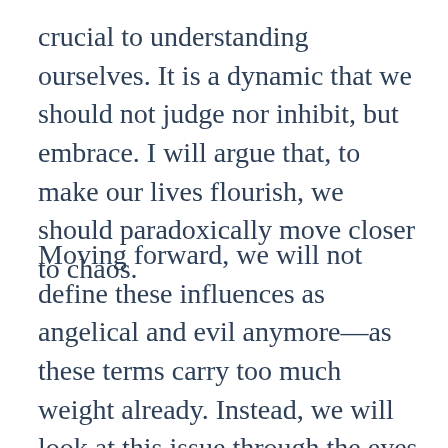crucial to understanding ourselves. It is a dynamic that we should not judge nor inhibit, but embrace. I will argue that, to make our lives flourish, we should paradoxically move closer to chaos.
Moving forward, we will not define these influences as angelical and evil anymore—as these terms carry too much weight already. Instead, we will look at this issue through the eyes of one of the greatest minds humanity has come to know.